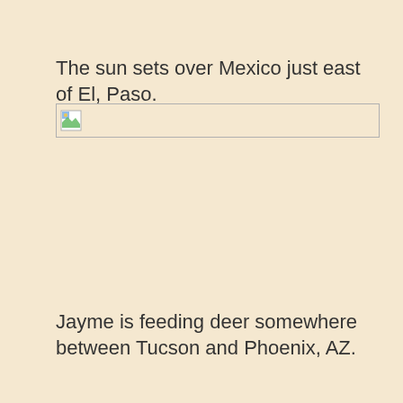The sun sets over Mexico just east of El, Paso.
[Figure (photo): Broken/missing image placeholder with a small image icon in top-left corner and a thin border outline]
Jayme is feeding deer somewhere between Tucson and Phoenix, AZ.